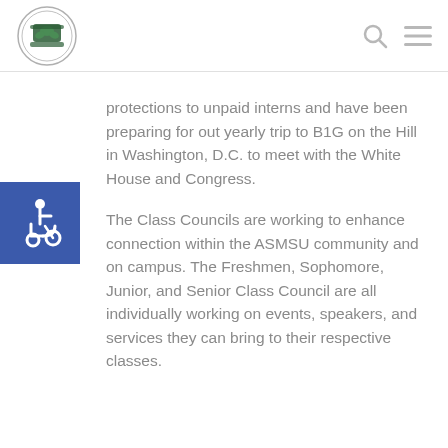ASMSU logo with search and menu icons
[Figure (logo): ASMSU circular seal logo with green emblem]
protections to unpaid interns and have been preparing for out yearly trip to B1G on the Hill in Washington, D.C. to meet with the White House and Congress.
The Class Councils are working to enhance connection within the ASMSU community and on campus. The Freshmen, Sophomore, Junior, and Senior Class Council are all individually working on events, speakers, and services they can bring to their respective classes.